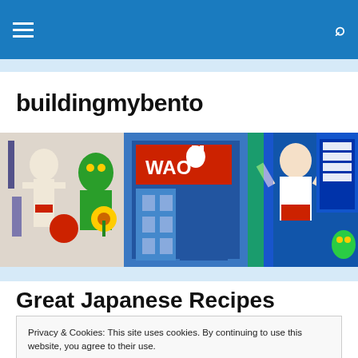buildingmybento — navigation bar with hamburger menu and search icon
buildingmybento
[Figure (photo): Colorful Japanese street signs and billboard murals including cartoon characters and storefronts in Osaka-style neon signage]
Great Japanese Recipes
Privacy & Cookies: This site uses cookies. By continuing to use this website, you agree to their use. To find out more, including how to control cookies, see here: Cookie Policy
ways to satisfy the hunger of the nation. In fact, many